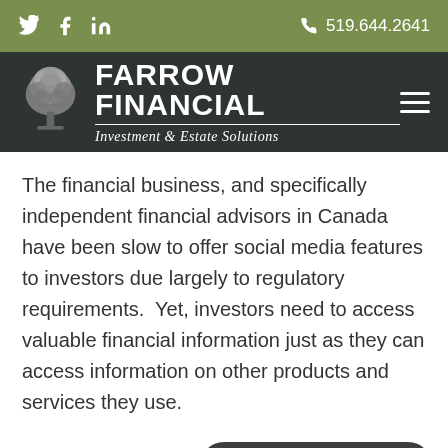Twitter | Facebook | LinkedIn | 519.644.2641
[Figure (logo): Farrow Financial Investment & Estate Solutions logo with tree icon]
The financial business, and specifically independent financial advisors in Canada have been slow to offer social media features to investors due largely to regulatory requirements.  Yet, investors need to access valuable financial information just as they can access information on other products and services they use.
Book an Appointment